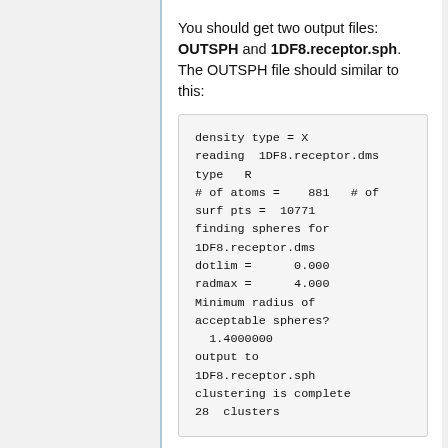You should get two output files: OUTSPH and 1DF8.receptor.sph. The OUTSPH file should similar to this:
density type = X
reading  1DF8.receptor.dms
type   R
# of atoms =    881   # of surf pts =  10771
finding spheres for 1DF8.receptor.dms
dotlim =      0.000
radmax =      4.000
Minimum radius of acceptable spheres?
  1.4000000
output to 1DF8.receptor.sph
clustering is complete
28  clusters
You can also open the spheres file that